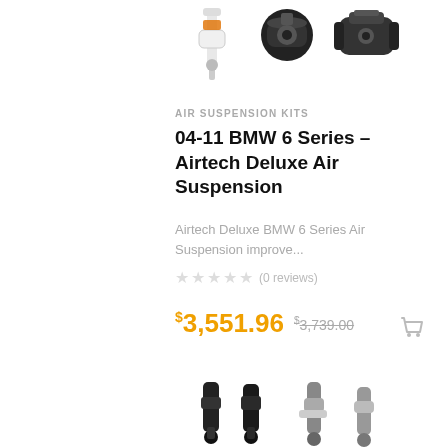[Figure (photo): Product photo showing air suspension kit components including struts and compressor, partially cropped at top]
AIR SUSPENSION KITS
04-11 BMW 6 Series – Airtech Deluxe Air Suspension
Airtech Deluxe BMW 6 Series Air Suspension improve...
★★★★★ (0 reviews)
$3,551.96  $3,739.00
SALE!
[Figure (photo): Product photo showing air suspension kit components including coilover struts, partially cropped at bottom]